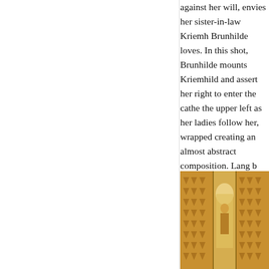against her will, envies her sister-in-law Kriemhilde loves. In this shot, Brunhilde mounts Kriemhild and assert her right to enter the cathe the upper left as her ladies follow her, wrapped creating an almost abstract composition. Lang b cathedral in two stages and then used the set im dramatic conflicts.
What makes this film Expressionist, I would ar as in this moment when Brunhilde pauses by he the slightly parted curtain, exiting left. She pau becoming part of the curtains for a moment.
[Figure (photo): A sepia/amber-toned film still showing heavy patterned curtains parted slightly to reveal a figure standing in an arched doorway, likely from Fritz Lang's Die Nibelungen. The image has a warm golden-brown tone characteristic of tinted silent film.]